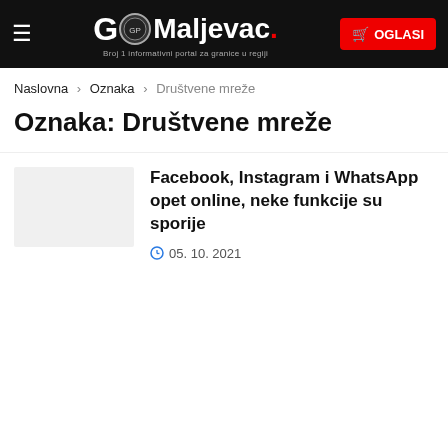GP Maljevac. Broj 1 informativni portal za granice u regiji | OGLASI
Naslovna > Oznaka > Društvene mreže
Oznaka: Društvene mreže
[Figure (photo): Thumbnail image placeholder (light grey box) for the article]
Facebook, Instagram i WhatsApp opet online, neke funkcije su sporije
05. 10. 2021